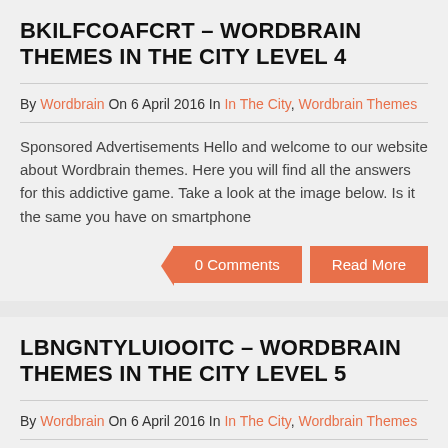BKILFCOAFCRT – WORDBRAIN THEMES IN THE CITY LEVEL 4
By Wordbrain On 6 April 2016 In In The City, Wordbrain Themes
Sponsored Advertisements Hello and welcome to our website about Wordbrain themes. Here you will find all the answers for this addictive game. Take a look at the image below. Is it the same you have on smartphone
0 Comments  Read More
LBNGNTYLUIOOITC – WORDBRAIN THEMES IN THE CITY LEVEL 5
By Wordbrain On 6 April 2016 In In The City, Wordbrain Themes
Hello and welcome to our website about Wordbrain themes. Here